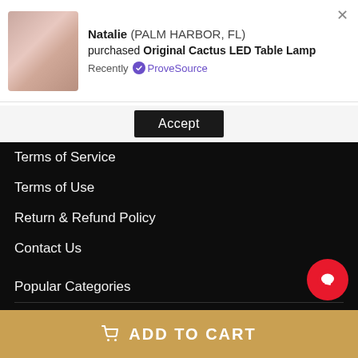[Figure (screenshot): Notification popup showing Natalie from Palm Harbor FL purchased Original Cactus LED Table Lamp, with product image, ProveSource badge, and close button]
Natalie (PALM HARBOR, FL) purchased Original Cactus LED Table Lamp Recently ✓ ProveSource
Accept
Terms of Service
Terms of Use
Return & Refund Policy
Contact Us
Popular Categories
Shop
Blog
Order Tracking
Address
ADD TO CART